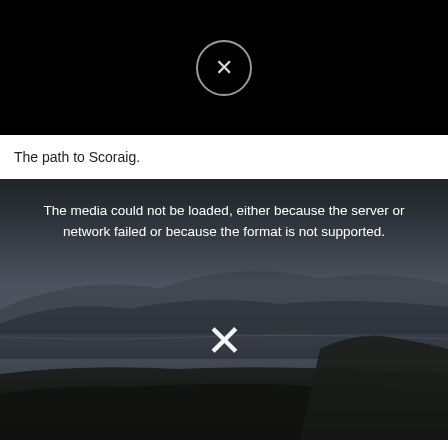[Figure (screenshot): Black video player with a circle-X error icon centered on a black background]
The path to Scoraig.
[Figure (screenshot): Video player error overlay on a landscape photo showing a loch and hillside in Scotland. Error message reads: The media could not be loaded, either because the server or network failed or because the format is not supported. A large X icon is centered below the error text.]